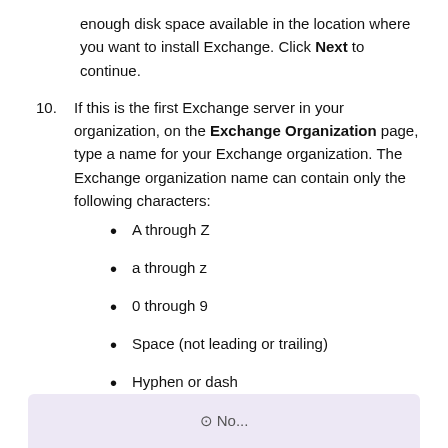enough disk space available in the location where you want to install Exchange. Click Next to continue.
10. If this is the first Exchange server in your organization, on the Exchange Organization page, type a name for your Exchange organization. The Exchange organization name can contain only the following characters:
A through Z
a through z
0 through 9
Space (not leading or trailing)
Hyphen or dash
[Figure (other): Partial note box with lavender/purple background visible at bottom of page, showing beginning of a Note section]